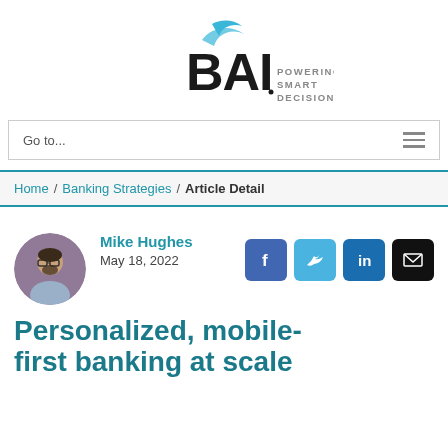[Figure (logo): BAI logo with swoosh graphic above, text 'BAI' in bold black and 'POWERING SMART DECISIONS.' in gray to the right]
Go to...
Home / Banking Strategies / Article Detail
[Figure (photo): Circular portrait photo of Mike Hughes, a man with glasses and beard]
Mike Hughes
May 18, 2022
[Figure (infographic): Social media share buttons: Facebook (blue), Twitter (light blue), LinkedIn (dark blue), Email (black)]
Personalized, mobile-first banking at scale